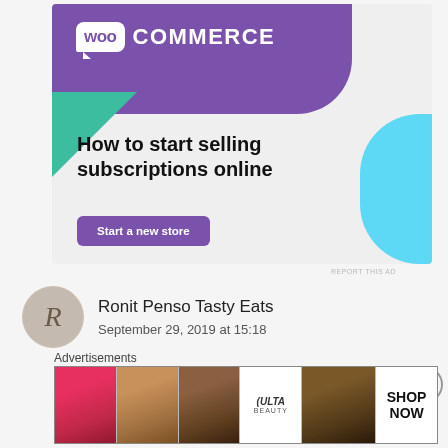[Figure (screenshot): WooCommerce advertisement banner with purple header, green triangle, blue shape, headline 'How to start selling subscriptions online', and 'Start a new store' button]
REPORT THIS AD
Ronit Penso Tasty Eats
September 29, 2019 at 15:18
Advertisements
[Figure (screenshot): ULTA Beauty advertisement banner showing beauty/makeup themed images with lips, brush, eyes, ULTA logo, and SHOP NOW text]